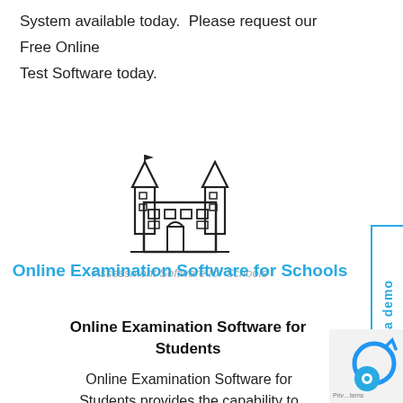System available today.  Please request our Free Online Test Software today.
[Figure (illustration): Line-art icon of a school/castle building with towers and a flag]
Assessment Software for Schools
Online Examination Software for Schools
Online Examination Software for Students
Online Examination Software for Students provides the capability to